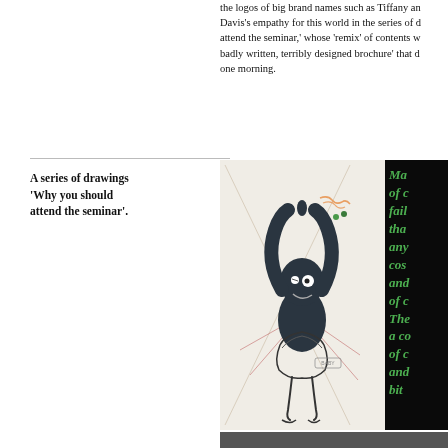the logos of big brand names such as Tiffany an... Davis's empathy for this world in the series of d... attend the seminar,' whose 'remix' of contents w... badly written, terribly designed brochure' that d... one morning.
A series of drawings 'Why you should attend the seminar'.
[Figure (illustration): A whimsical drawing of a dark cartoon creature with arms raised, wearing a tutu skirt, on a light background with radiating lines. A dark panel to the right shows green italic text (partially visible): 'Mas... of c... fail... tha... any... cos... and... of c... The... a co... of c... and... bit...']
[Figure (photo): A dark photographic image partially visible at the bottom of the page.]